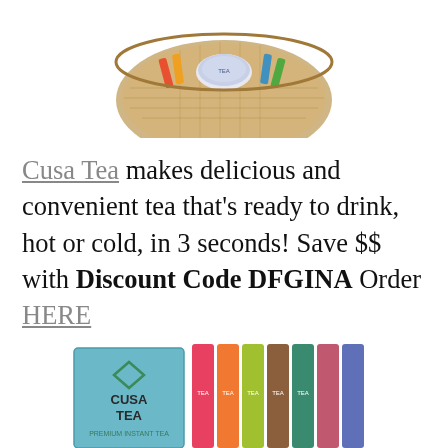[Figure (photo): A wicker basket filled with various tea products and items, viewed from above, partially cropped at the top of the image.]
Cusa Tea makes delicious and convenient tea that's ready to drink, hot or cold, in 3 seconds! Save $$ with Discount Code DFGINA Order HERE
[Figure (photo): Cusa Tea product packaging showing a box and several colorful individual tea stick packets with various flavors.]